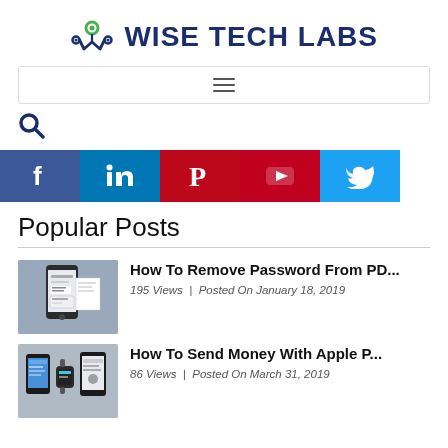[Figure (logo): Wise Tech Labs logo with stylized W icon in dark navy and green]
[Figure (screenshot): Navigation bar with hamburger menu icon (three horizontal lines)]
[Figure (infographic): Search icon (magnifying glass) in dark blue]
[Figure (infographic): Row of five social media icon buttons: Facebook (blue), LinkedIn (blue), Pinterest (red), YouTube (red), Twitter (light blue)]
Popular Posts
How To Remove Password From PD...
195 Views  |  Posted On January 18, 2019
How To Send Money With Apple P...
86 Views  |  Posted On March 31, 2019